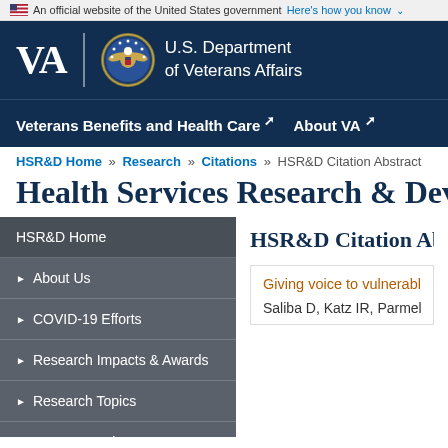An official website of the United States government Here's how you know
[Figure (logo): U.S. Department of Veterans Affairs logo with VA text, seal, and department name on dark blue background]
Veterans Benefits and Health Care   About VA
HSR&D Home » Research » Citations » HSR&D Citation Abstract
Health Services Research & Deve
HSR&D Home
▶ About Us
▶ COVID-19 Efforts
▶ Research Impacts & Awards
▶ Research Topics
▶ Career Development Program
▶ Centers and Research Networks
HSR&D Citation Abstra
Giving voice to vulnerable old
Saliba D, Katz IR, Parmelee